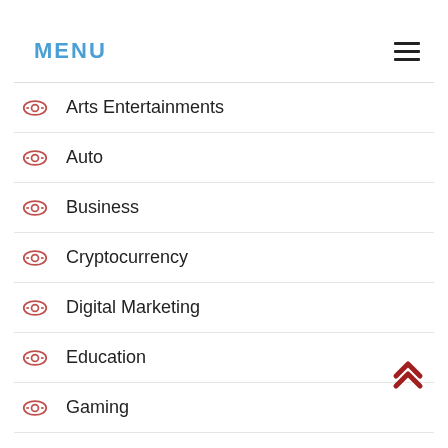MENU
Arts Entertainments
Auto
Business
Cryptocurrency
Digital Marketing
Education
Gaming
Health Fitness
Home Kitchen